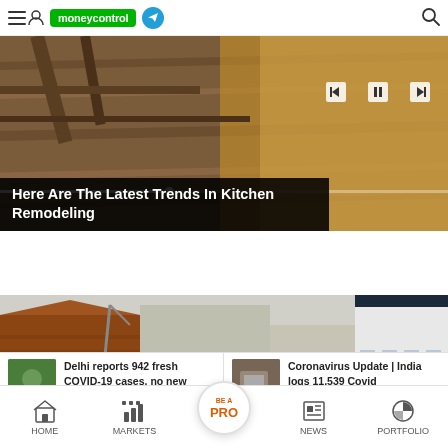moneycontrol
[Figure (screenshot): Hero image showing kitchen/wood construction with playback controls (skip back, pause, skip forward) and a progress bar overlay. Title overlay reads: Here Are The Latest Trends In Kitchen Remodeling]
Here Are The Latest Trends In Kitchen Remodeling
[Figure (photo): Street-level photo of brick and white commercial buildings with storefronts and dark awnings]
Delhi reports 942 fresh COVID-19 cases, no new deaths
Coronavirus Update | India logs 11,539 Covid
HOME  MARKETS  BE A PRO  NEWS  PORTFOLIO